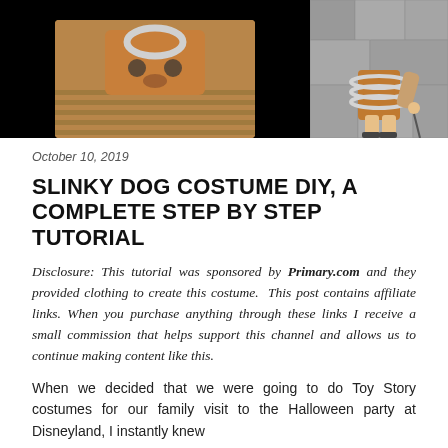[Figure (photo): Two photos: left shows a DIY Slinky Dog costume craft made from brown bag with rings; right shows a child wearing the completed brown Slinky Dog costume at Disneyland]
October 10, 2019
SLINKY DOG COSTUME DIY, A COMPLETE STEP BY STEP TUTORIAL
Disclosure: This tutorial was sponsored by Primary.com and they provided clothing to create this costume.  This post contains affiliate links. When you purchase anything through these links I receive a small commission that helps support this channel and allows us to continue making content like this.
When we decided that we were going to do Toy Story costumes for our family visit to the Halloween party at Disneyland, I instantly knew that I would have a mission in A...